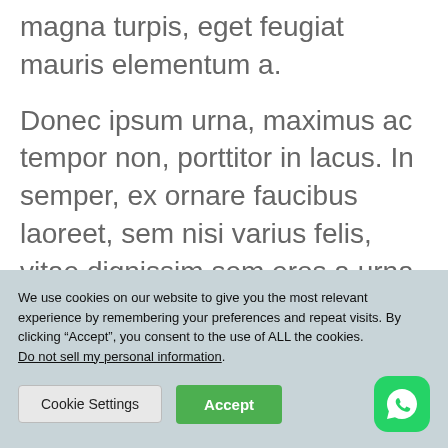magna turpis, eget feugiat mauris elementum a.
Donec ipsum urna, maximus ac tempor non, porttitor in lacus. In semper, ex ornare faucibus laoreet, sem nisi varius felis, vitae dignissim sem eros a urna. Suspendisse dignissim viverra arcu a
We use cookies on our website to give you the most relevant experience by remembering your preferences and repeat visits. By clicking “Accept”, you consent to the use of ALL the cookies. Do not sell my personal information.